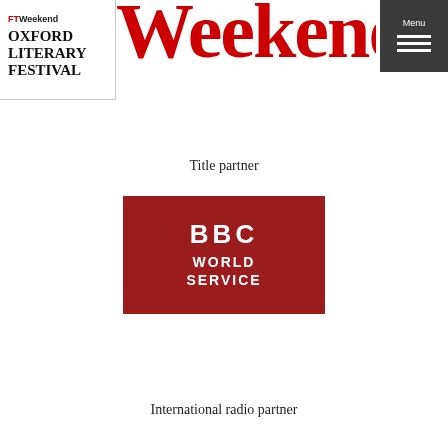[Figure (logo): FT Weekend Oxford Literary Festival logo in top-left, black serif text with red FT Weekend branding, inside a white box with a light border]
[Figure (logo): FT Weekend large red masthead text 'Weekend' across the top center-right of the page]
[Figure (logo): Dark gray/charcoal hamburger menu icon with 'Menu' text label, top right corner]
Title partner
[Figure (logo): BBC World Service logo: white text 'BBC WORLD SERVICE' on a dark red/crimson rectangular background]
International radio partner